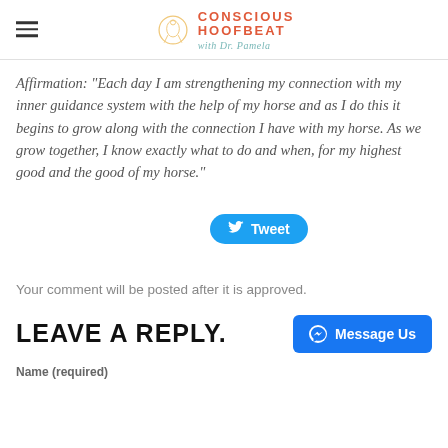CONSCIOUS HOOFBEAT with Dr. Pamela
Affirmation: "Each day I am strengthening my connection with my inner guidance system with the help of my horse and as I do this it begins to grow along with the connection I have with my horse. As we grow together, I know exactly what to do and when, for my highest good and the good of my horse."
[Figure (other): Tweet button in Twitter blue with bird icon]
Your comment will be posted after it is approved.
LEAVE A REPLY.
Name (required)